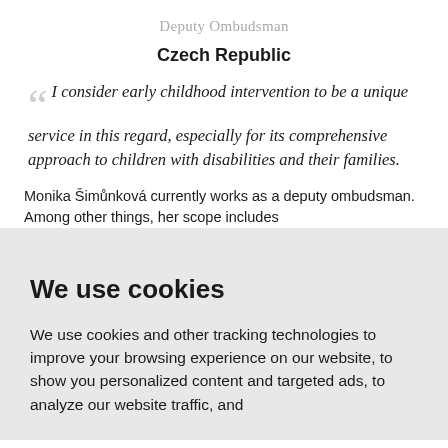Deputy Ombudsman
Czech Republic
I consider early childhood intervention to be a unique service in this regard, especially for its comprehensive approach to children with disabilities and their families.
Monika Šimůnková currently works as a deputy ombudsman. Among other things, her scope includes
We use cookies
We use cookies and other tracking technologies to improve your browsing experience on our website, to show you personalized content and targeted ads, to analyze our website traffic, and